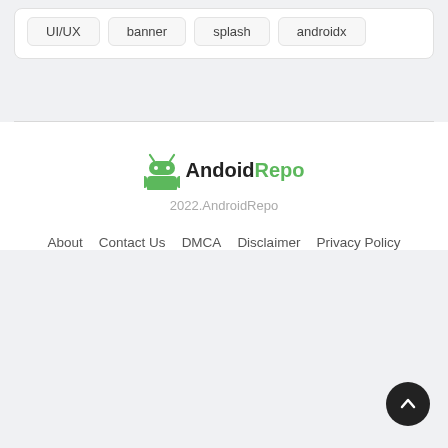UI/UX
banner
splash
androidx
[Figure (logo): Android robot icon (green) next to text 'Andoid' in black bold and 'Repo' in green bold]
2022.AndroidRepo
About   Contact Us   DMCA   Disclaimer   Privacy Policy